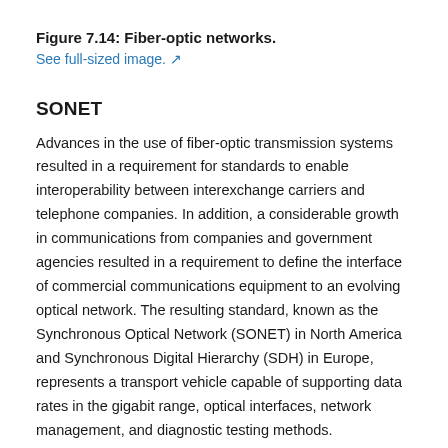Figure 7.14: Fiber-optic networks.
See full-sized image. ↗
SONET
Advances in the use of fiber-optic transmission systems resulted in a requirement for standards to enable interoperability between interexchange carriers and telephone companies. In addition, a considerable growth in communications from companies and government agencies resulted in a requirement to define the interface of commercial communications equipment to an evolving optical network. The resulting standard, known as the Synchronous Optical Network (SONET) in North America and Synchronous Digital Hierarchy (SDH) in Europe, represents a transport vehicle capable of supporting data rates in the gigabit range, optical interfaces, network management, and diagnostic testing methods.